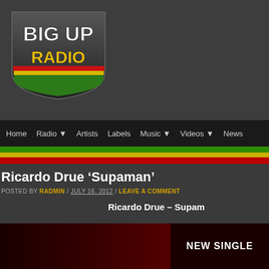[Figure (logo): Big Up Radio logo with reggae stripe colors (green, yellow, red) and white text on dark background]
Home | Radio ↓ | Artists | Labels | Music ↓ | Videos ↓ | News
Ricardo Drue 'Supaman'
POSTED BY RADMIN / JULY 16, 2012 / LEAVE A COMMENT
Ricardo Drue – Supam
[Figure (photo): Promotional image for Ricardo Drue single showing dark red background with 'NEW SINGLE' text in white]